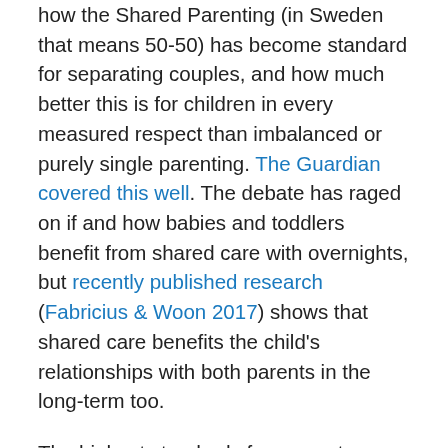how the Shared Parenting (in Sweden that means 50-50) has become standard for separating couples, and how much better this is for children in every measured respect than imbalanced or purely single parenting. The Guardian covered this well. The debate has raged on if and how babies and toddlers benefit from shared care with overnights, but recently published research (Fabricius & Woon 2017) shows that shared care benefits the child's relationships with both parents in the long-term too.
The highest standards for competence for legal assessments is Steve Miller's challenging chapter Clinical reasoning and decision-making in cases of child alignment: diagnostic and therapeutic issues, in Baker and Sauber's book (2013) Working with Alienated Children and Families: A Clinical Guidebook.
Most authorities now focus on Alienation as emotional (